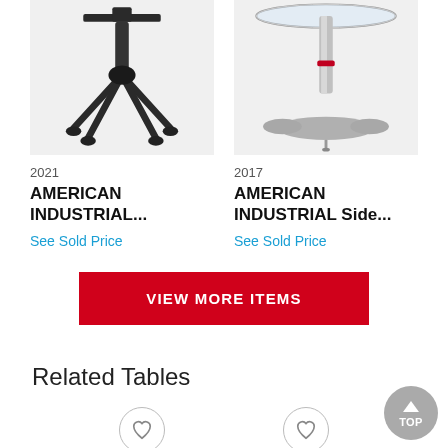[Figure (photo): Photo of American Industrial item 2021 — dark metal table/lamp base with ornate spider-leg feet]
2021
AMERICAN INDUSTRIAL...
See Sold Price
[Figure (photo): Photo of American Industrial Side item 2017 — chrome pedestal table with glass top and wing-shaped base]
2017
AMERICAN INDUSTRIAL Side...
See Sold Price
VIEW MORE ITEMS
Related Tables